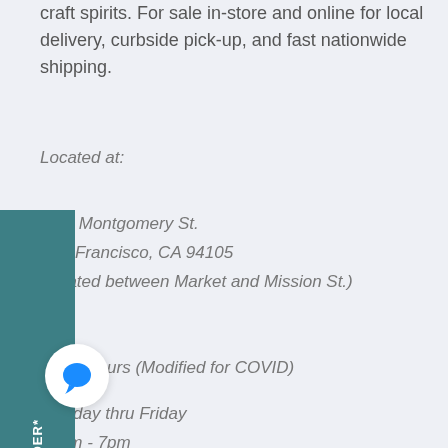craft spirits. For sale in-store and online for local delivery, curbside pick-up, and fast nationwide shipping.
Located at:
New Montgomery St.
San Francisco, CA 94105
(located between Market and Mission St.)
Store Hours (Modified for COVID)
Monday thru Friday
11am - 7pm
Saturday
11am - 6pm
CLOSED SUNDAYS
[Figure (illustration): Teal/dark cyan vertical sidebar tab with rotated text reading '$15 OFF YOUR $100+ ORDER*']
[Figure (illustration): White circular chat bubble button with blue speech bubble icon]